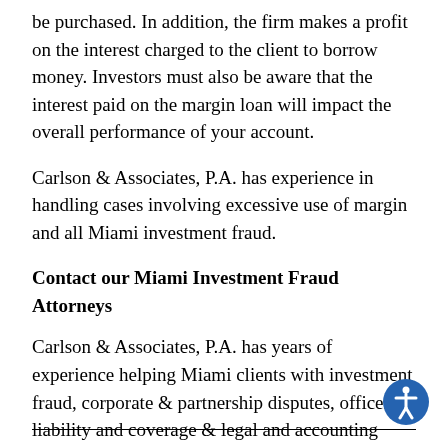be purchased. In addition, the firm makes a profit on the interest charged to the client to borrow money. Investors must also be aware that the interest paid on the margin loan will impact the overall performance of your account.
Carlson & Associates, P.A. has experience in handling cases involving excessive use of margin and all Miami investment fraud.
Contact our Miami Investment Fraud Attorneys
Carlson & Associates, P.A. has years of experience helping Miami clients with investment fraud, corporate & partnership disputes, officer liability and coverage & legal and accounting malpractice. Contact us online or call 305-372-9700 for more information or assistance.